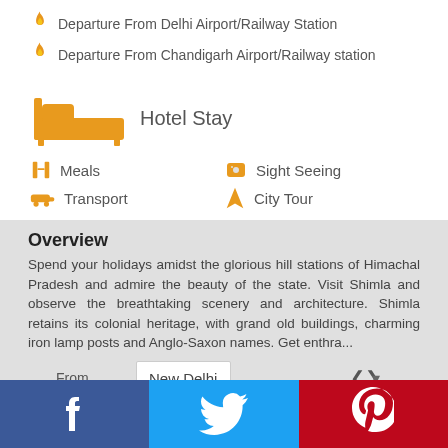Departure From Delhi Airport/Railway Station
Departure From Chandigarh Airport/Railway station
[Figure (infographic): Hotel Stay icon with bed symbol in orange]
Meals
Sight Seeing
Transport
City Tour
Overview
Spend your holidays amidst the glorious hill stations of Himachal Pradesh and admire the beauty of the state. Visit Shimla and observe the breathtaking scenery and architecture. Shimla retains its colonial heritage, with grand old buildings, charming iron lamp posts and Anglo-Saxon names. Get enthra...
From  New Delhi
Category  Deluxe
[Figure (infographic): Social media bar with Facebook, Twitter, Pinterest buttons]